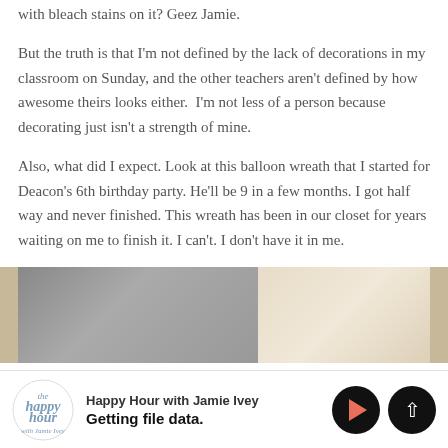with bleach stains on it? Geez Jamie.
But the truth is that I'm not defined by the lack of decorations in my classroom on Sunday, and the other teachers aren't defined by how awesome theirs looks either.  I'm not less of a person because decorating just isn't a strength of mine.
Also, what did I expect. Look at this balloon wreath that I started for Deacon's 6th birthday party. He'll be 9 in a few months. I got half way and never finished. This wreath has been in our closet for years waiting on me to finish it. I can't. I don't have it in me.
[Figure (photo): Partial photograph showing a balloon wreath, split into two sections — left dark gray and right light beige/cream]
Happy Hour with Jamie Ivey
Getting file data.